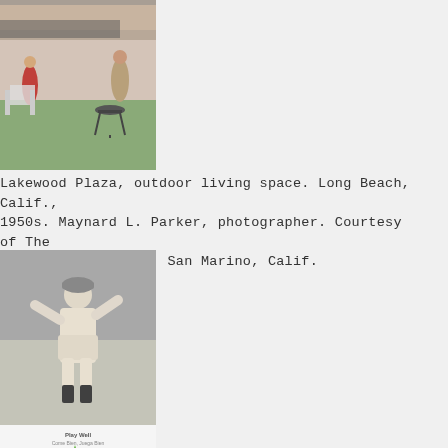[Figure (photo): Color photograph of outdoor backyard scene at Lakewood Plaza, Long Beach, California, 1950s. Shows a woman in red and a man grilling on a barbecue, with patio furniture and a mid-century home in background.]
Lakewood Plaza, outdoor living space. Long Beach, Calif., 1950s. Maynard L. Parker, photographer. Courtesy of The Huntington Library, San Marino, Calif.
[Figure (photo): Black and white photograph of a female baseball player in uniform mid-pitch or throwing motion on a field.]
[Figure (photo): Colorful exhibition poster or flyer showing illustrated figures, text reading 'Come Bien, Juega Bien' and 'On Exhibit Feb 2-April 28' in an orange circle, with blue and green figures on white background.]